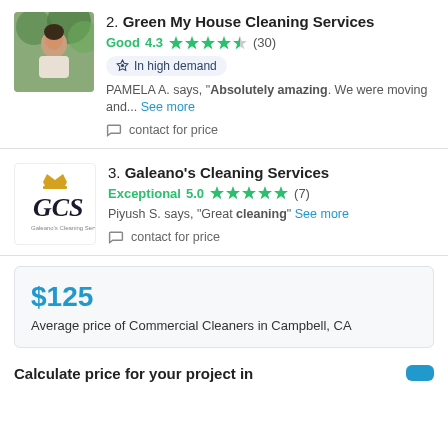2. Green My House Cleaning Services
Good 4.3 ★★★★½ (30)
In high demand
PAMELA A. says, "Absolutely amazing. We were moving and... See more"
contact for price
3. Galeano's Cleaning Services
Exceptional 5.0 ★★★★★ (7)
Piyush S. says, "Great cleaning" See more
contact for price
$125
Average price of Commercial Cleaners in Campbell, CA
Calculate price for your project in